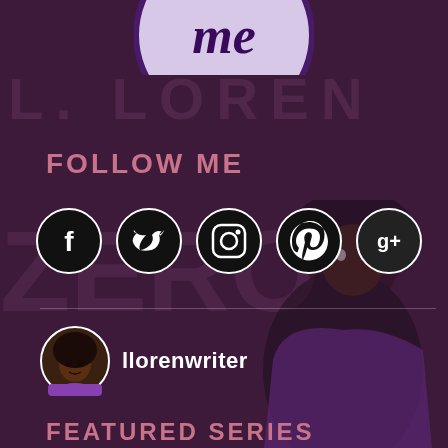[Figure (illustration): Top of page shows partial circle logo with decorative gothic text 'me' on lavender/purple background with dark purple border, cropped at top edge]
L. LOREN
FOLLOW ME
[Figure (infographic): Row of 5 social media icons in black circles with white icons: Facebook, Twitter, Instagram, Pinterest, Google+]
[Figure (illustration): Background illustration of a woman with natural hair, dark-skinned, wearing purple top, semi-transparent over dark purple background]
[Figure (photo): Small circular profile avatar photo of a woman with natural afro hair]
llorenwriter
FEATURED SERIES
[Figure (illustration): Bottom strip showing multiple book covers labeled LUNCHTIME against a teal/blue background, partially visible at bottom of page]